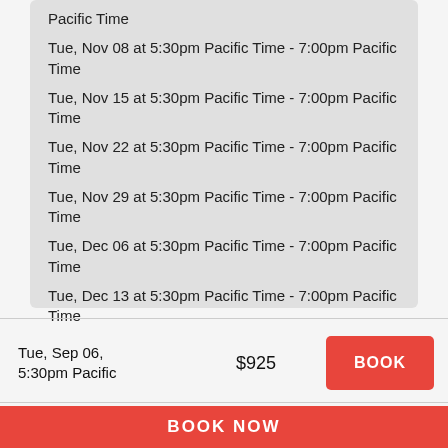Pacific Time
Tue, Nov 08 at 5:30pm Pacific Time - 7:00pm Pacific Time
Tue, Nov 15 at 5:30pm Pacific Time - 7:00pm Pacific Time
Tue, Nov 22 at 5:30pm Pacific Time - 7:00pm Pacific Time
Tue, Nov 29 at 5:30pm Pacific Time - 7:00pm Pacific Time
Tue, Dec 06 at 5:30pm Pacific Time - 7:00pm Pacific Time
Tue, Dec 13 at 5:30pm Pacific Time - 7:00pm Pacific Time
Tue, Sep 06, 5:30pm Pacific   $925   BOOK
BOOK NOW